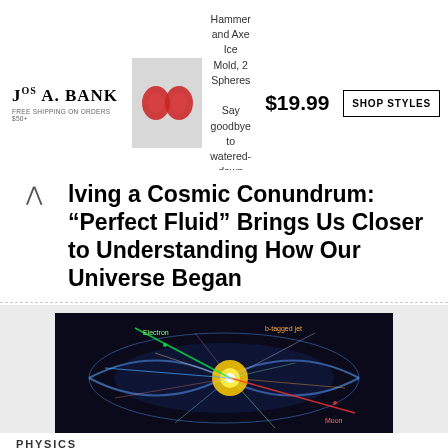[Figure (screenshot): Advertisement banner for Jos A. Bank with Hammer and Axe Ice Mold product, price $19.99 and SHOP STYLES button]
lving a Cosmic Conundrum: "Perfect Fluid" Brings Us Closer to Understanding How Our Universe Began
[Figure (photo): Particle collision visualization showing a bright yellow-orange explosion of particles against a dark background, with colored streaks (green, blue, red) representing particle tracks, labeled with electron and other particle annotations]
PHYSICS
Extreme State of Matter: Evidence of Top Quarks in Collisions at the Large Hadron Collider